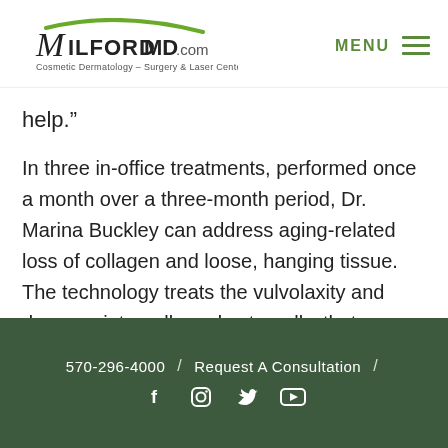[Figure (logo): MilfordMD.com Cosmetic Dermatology - Surgery & Laser Center logo with green swoosh]
help.”
In three in-office treatments, performed once a month over a three-month period, Dr. Marina Buckley can address aging-related loss of collagen and loose, hanging tissue. The technology treats the vulvolaxity and dryness, internally and externally, that can occur from vaginal birth. And it helps to treat pelvic organ prolapse, tissue
570-296-4000 / Request A Consultation / [social icons: Facebook, Instagram, Twitter, YouTube]